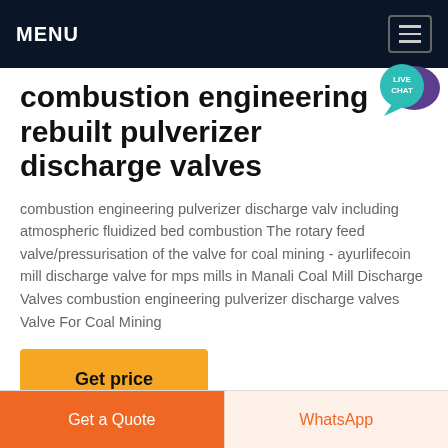MENU
[Figure (screenshot): Live Chat speech bubble icon in teal/purple]
combustion engineering rebuilt pulverizer discharge valves
combustion engineering pulverizer discharge valv including atmospheric fluidized bed combustion The rotary feed valve/pressurisation of the valve for coal mining - ayurlifecoin mill discharge valve for mps mills in Manali Coal Mill Discharge Valves combustion engineering pulverizer discharge valves Valve For Coal Mining
Get price
Get a Quote
WhatsApp